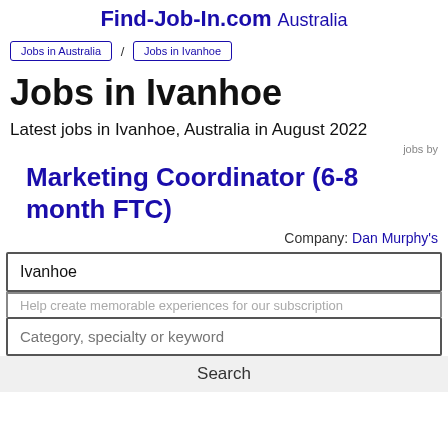Find-Job-In.com Australia
Jobs in Australia / Jobs in Ivanhoe
Jobs in Ivanhoe
Latest jobs in Ivanhoe, Australia in August 2022
jobs by
Marketing Coordinator (6-8 month FTC)
Company: Dan Murphy's
Ivanhoe
Help create memorable experiences for our subscription
Category, specialty or keyword
Search